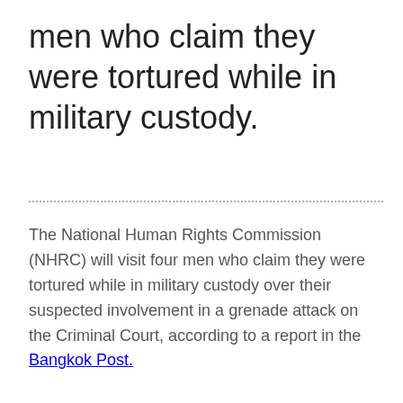men who claim they were tortured while in military custody.
The National Human Rights Commission (NHRC) will visit four men who claim they were tortured while in military custody over their suspected involvement in a grenade attack on the Criminal Court, according to a report in the Bangkok Post.